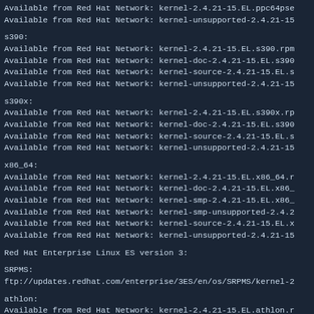Available from Red Hat Network: kernel-2.4.21-15.EL.ppc64pse
Available from Red Hat Network: kernel-unsupported-2.4.21-15
s390:
Available from Red Hat Network: kernel-2.4.21-15.EL.s390.rpm
Available from Red Hat Network: kernel-doc-2.4.21-15.EL.s390
Available from Red Hat Network: kernel-source-2.4.21-15.EL.s
Available from Red Hat Network: kernel-unsupported-2.4.21-15
s390x:
Available from Red Hat Network: kernel-2.4.21-15.EL.s390x.rp
Available from Red Hat Network: kernel-doc-2.4.21-15.EL.s390
Available from Red Hat Network: kernel-source-2.4.21-15.EL.s
Available from Red Hat Network: kernel-unsupported-2.4.21-15
x86_64:
Available from Red Hat Network: kernel-2.4.21-15.EL.x86_64.r
Available from Red Hat Network: kernel-doc-2.4.21-15.EL.x86_
Available from Red Hat Network: kernel-smp-2.4.21-15.EL.x86_
Available from Red Hat Network: kernel-smp-unsupported-2.4.2
Available from Red Hat Network: kernel-source-2.4.21-15.EL.x
Available from Red Hat Network: kernel-unsupported-2.4.21-15
Red Hat Enterprise Linux ES version 3:
SRPMS:
ftp://updates.redhat.com/enterprise/3ES/en/os/SRPMS/kernel-2
athlon:
Available from Red Hat Network: kernel-2.4.21-15.EL.athlon.r
Available from Red Hat Network: kernel-smp-2.4.21-15.EL.athl
Available from Red Hat Network: kernel-smp-unsupported-2.4.2
Available from Red Hat Network: kernel-unsupported-2.4.21-15